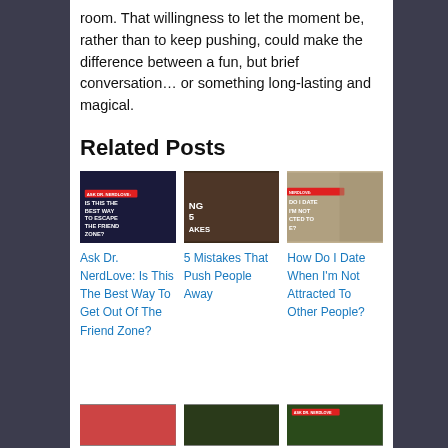room. That willingness to let the moment be, rather than to keep pushing, could make the difference between a fun, but brief conversation… or something long-lasting and magical.
Related Posts
[Figure (photo): Thumbnail image for 'Ask Dr. NerdLove: Is This The Best Way To Get Out Of The Friend Zone?' — dark background with white overlaid text and a red label bar reading 'ASK DR. NERDLOVE']
Ask Dr. NerdLove: Is This The Best Way To Get Out Of The Friend Zone?
[Figure (photo): Thumbnail image for '5 Mistakes That Push People Away' — man leaning over bar counter]
5 Mistakes That Push People Away
[Figure (photo): Thumbnail image for 'How Do I Date When I'm Not Attracted To Other People?' — man in blue shirt with red label bar]
How Do I Date When I'm Not Attracted To Other People?
[Figure (photo): Bottom row thumbnail 1 — woman with red background]
[Figure (photo): Bottom row thumbnail 2 — dark green outdoor scene]
[Figure (photo): Bottom row thumbnail 3 — outdoor green scene with ASK DR. NERDLOVE label]